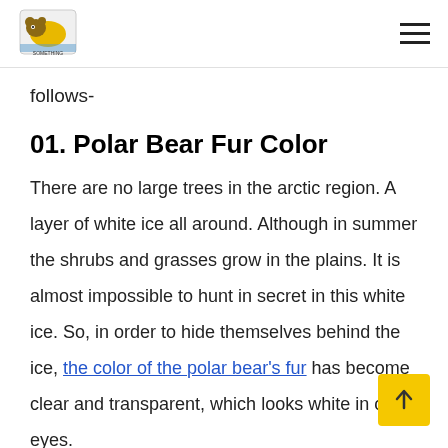[Logo] [Hamburger menu]
follows-
01. Polar Bear Fur Color
There are no large trees in the arctic region. A layer of white ice all around. Although in summer the shrubs and grasses grow in the plains. It is almost impossible to hunt in secret in this white ice. So, in order to hide themselves behind the ice, the color of the polar bear's fur has become clear and transparent, which looks white in our eyes.